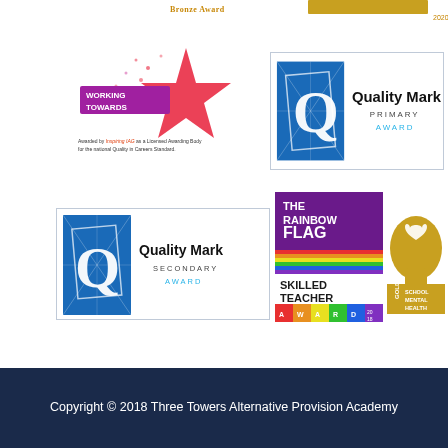[Figure (logo): Bronze Award text at top]
[Figure (logo): Working Towards shooting star logo with Inspiring IAG text - Quality in Careers Standard]
[Figure (logo): Quality Mark Primary Award logo with blue Q icon in bordered box]
[Figure (logo): Quality Mark Secondary Award logo with blue Q icon in bordered box]
[Figure (logo): The Rainbow Flag Skilled Teacher Award 2018]
[Figure (logo): Gold School Mental Health Award - gold head silhouette]
Copyright © 2018 Three Towers Alternative Provision Academy